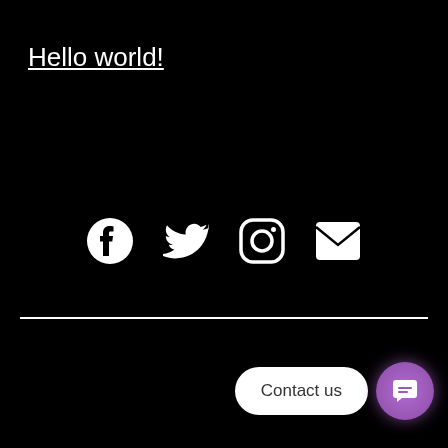Hello world!
[Figure (illustration): Four social media icons in white on black background: Facebook, Twitter, Instagram, and Email/Mail icons arranged horizontally]
[Figure (infographic): A horizontal white divider line spanning the full width of the page]
[Figure (screenshot): A 'Contact us' chat widget in the bottom right corner. It consists of a white rounded pill-shaped button with the text 'Contact us' in dark gray, and a purple circular button with a white chat/message icon.]